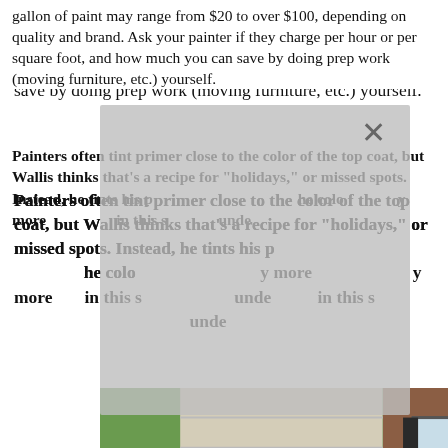gallon of paint may range from $20 to over $100, depending on quality and brand. Ask your painter if they charge per hour or per square foot, and how much you can save by doing prep work (moving furniture, etc.) yourself.
Painters often tint primer close to the color of the top coat, but Wallis thinks that's a recipe for "holidays," or missed spots. Instead, he tints his primer a contrasting color — the color actually shows you where you need more coverage. In fact, he's so confident in this strategy that he often leaves the undercoat...
[Figure (photo): Three collaged photos of people falling off ladders: left shows person with blue bucket falling from ladder against a house, center shows person climbing ladder on brick house exterior, right shows person falling sideways from ladder indoors.]
Homeowners report that exterior painting costs an average of $2,937, but could run from $1,000 to $6,000. The average price per square foot ranges from $0.50 to $3.50 depending on your location, condition of your exterior and accessibility. Stucco and brick cost an average of $1 per square foot more than vinyl or wood. The average 2,500 square feet home costs an average of $4,000, though it